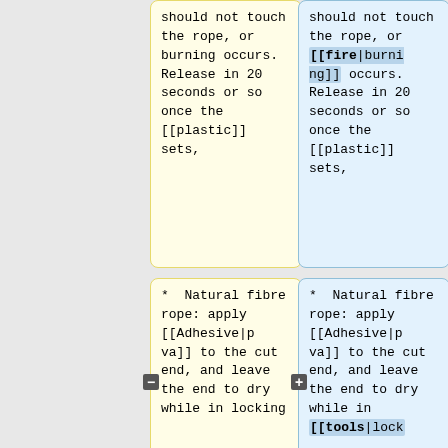should not touch the rope, or burning occurs. Release in 20 seconds or so once the [[plastic]] sets,
should not touch the rope, or [[fire|burning]] occurs. Release in 20 seconds or so once the [[plastic]] sets,
* Natural fibre rope: apply [[Adhesive|pva]] to the cut end, and leave the end to dry while in locking
* Natural fibre rope: apply [[Adhesive|pva]] to the cut end, and leave the end to dry while in [[tools|lock